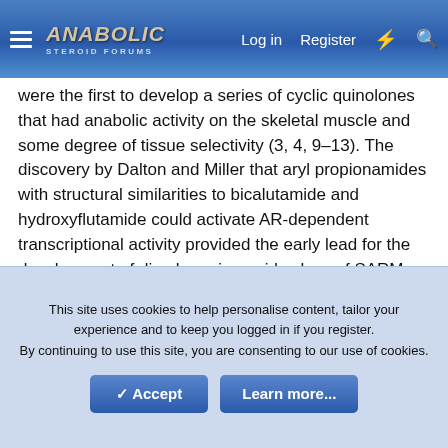Anabolic Steroid Forums — Log in | Register
were the first to develop a series of cyclic quinolones that had anabolic activity on the skeletal muscle and some degree of tissue selectivity (3, 4, 9–13). The discovery by Dalton and Miller that aryl propionamides with structural similarities to bicalutamide and hydroxyflutamide could activate AR-dependent transcriptional activity provided the early lead for the development of diaryl propionamide class of SARMs (7, 8). The decade since these early efforts has witnessed the emergence of a large number of nonsteroidal SARMs from virtually all the major pharmaceutical companies (2). The review will focus on the rationale for SARM development, the molecular basis of androgen action, the mechanistic basis of tissue selectivity, and potential clinical applications for SARMs.
This site uses cookies to help personalise content, tailor your experience and to keep you logged in if you register.
By continuing to use this site, you are consenting to our use of cookies.